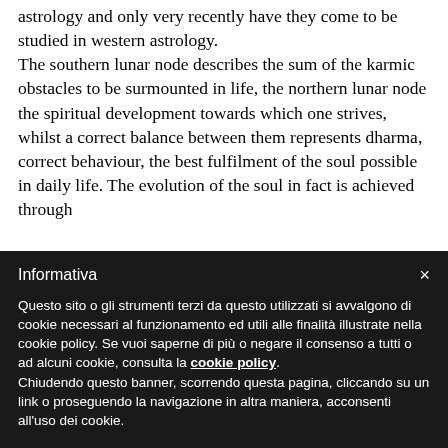astrology and only very recently have they come to be studied in western astrology. The southern lunar node describes the sum of the karmic obstacles to be surmounted in life, the northern lunar node the spiritual development towards which one strives, whilst a correct balance between them represents dharma, correct behaviour, the best fulfilment of the soul possible in daily life. The evolution of the soul in fact is achieved through
Informativa
Questo sito o gli strumenti terzi da questo utilizzati si avvalgono di cookie necessari al funzionamento ed utili alle finalità illustrate nella cookie policy. Se vuoi saperne di più o negare il consenso a tutti o ad alcuni cookie, consulta la cookie policy. Chiudendo questo banner, scorrendo questa pagina, cliccando su un link o proseguendo la navigazione in altra maniera, acconsenti all'uso dei cookie.